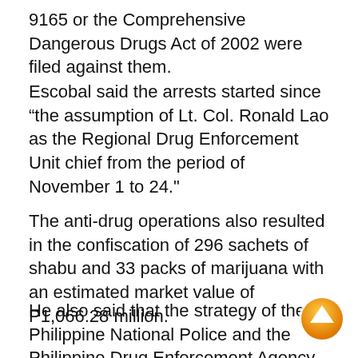9165 or the Comprehensive Dangerous Drugs Act of 2002 were filed against them.
Escobal said the arrests started since “the assumption of Lt. Col. Ronald Lao as the Regional Drug Enforcement Unit chief from the period of November 1 to 24."
The anti-drug operations also resulted in the confiscation of 296 sachets of shabu and 33 packs of marijuana with an estimated market value of P1,066.28 million.
He also said that the strategy of the Philippine National Police and the Philippine Drug Enforcement Agency will still be anchored on demand reduction. He said there was no significant action plan laid down to them by Vice President Leonor Robredo until she was fired by President Rodrigo Duterte as the co-chair of the Inter-Agency Committee on Illegal Drugs.’